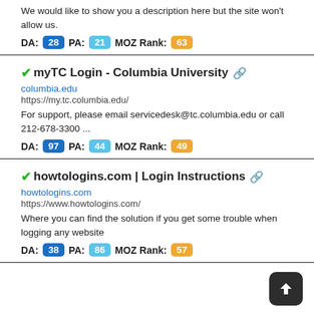We would like to show you a description here but the site won't allow us.
DA: 28  PA: 21  MOZ Rank: 63
myTC Login - Columbia University
columbia.edu
https://my.tc.columbia.edu/
For support, please email servicedesk@tc.columbia.edu or call 212-678-3300 ...
DA: 97  PA: 44  MOZ Rank: 49
howtologins.com | Login Instructions
howtologins.com
https://www.howtologins.com/
Where you can find the solution if you get some trouble when logging any website
DA: 38  PA: 86  MOZ Rank: 57